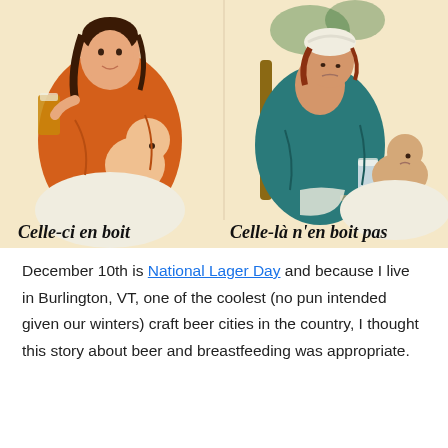[Figure (illustration): Vintage French beer advertisement poster showing two scenes side by side. Left: a smiling woman in an orange blouse holding a glass of dark beer while breastfeeding a chubby, healthy-looking baby. Caption below reads 'Celle-ci en boit' (This one drinks it). Right: a tired-looking woman in a teal dress sitting in a chair, without beer, nursing an unhappy, thin baby. Caption reads 'Celle-là n'en boit pas' (That one doesn't drink it). Cream/beige background with bold italic captions at bottom.]
December 10th is National Lager Day and because I live in Burlington, VT, one of the coolest (no pun intended given our winters) craft beer cities in the country, I thought this story about beer and breastfeeding was appropriate.